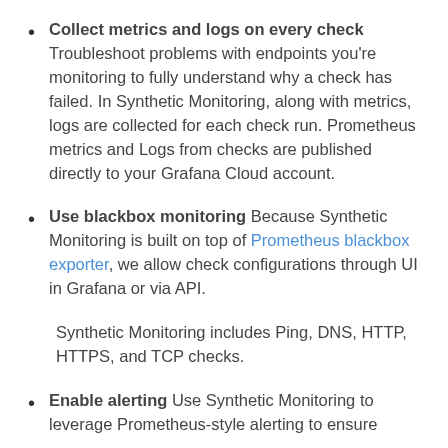Collect metrics and logs on every check Troubleshoot problems with endpoints you're monitoring to fully understand why a check has failed. In Synthetic Monitoring, along with metrics, logs are collected for each check run. Prometheus metrics and Logs from checks are published directly to your Grafana Cloud account.
Use blackbox monitoring Because Synthetic Monitoring is built on top of Prometheus blackbox exporter, we allow check configurations through UI in Grafana or via API.
Synthetic Monitoring includes Ping, DNS, HTTP, HTTPS, and TCP checks.
Enable alerting Use Synthetic Monitoring to leverage Prometheus-style alerting to ensure